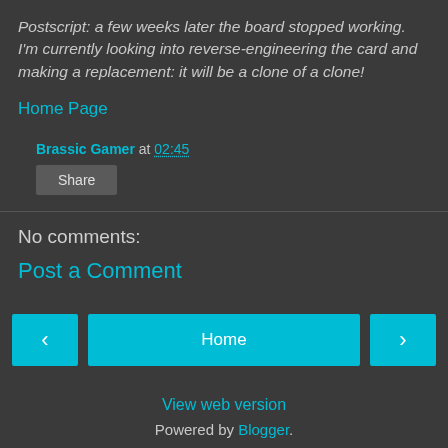Postscript: a few weeks later the board stopped working. I'm currently looking into reverse-engineering the card and making a replacement: it will be a clone of a clone!
Home Page
Brassic Gamer at 02:45
Share
No comments:
Post a Comment
Home
View web version
Powered by Blogger.